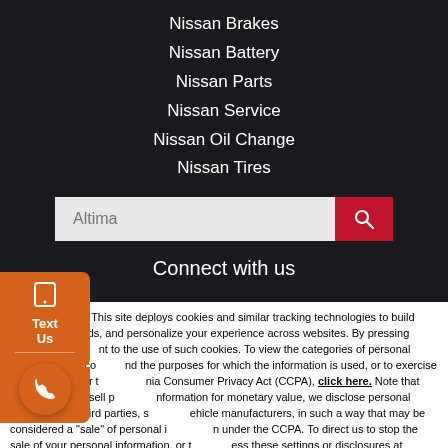Nissan Brakes
Nissan Battery
Nissan Parts
Nissan Service
Nissan Oil Change
Nissan Tires
Altima [search box]
Connect with us
Privacy Policy: This site deploys cookies and similar tracking technologies to build profiles, serve ads, and personalize your experience across websites. By pressing accept, you consent to the use of such cookies. To view the categories of personal information we collect and the purposes for which the information is used, or to exercise your rights under the California Consumer Privacy Act (CCPA), click here. Note that while we do not sell personal information for monetary value, we disclose personal information to third parties, such as vehicle manufacturers, in such a way that may be considered a "sale" of personal information under the CCPA. To direct us to stop the sale of your personal information, or to re-access these settings or disclosures at anytime, click the following icon or link:
Do Not Sell My Personal Information
Language: English
Powered by ComplyAuto
Accept and Continue →
California Privacy Disclosures
Text Us
[Figure (other): Orange floating widget with phone/text icons and a blue circle arc at bottom left]